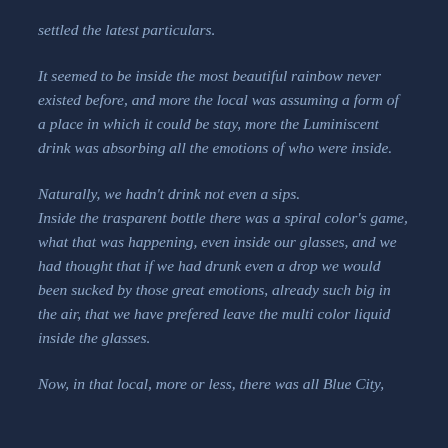settled the latest particulars.
It seemed to be inside the most beautiful rainbow never existed before, and more the local was assuming a form of a place in which it could be stay, more the Luminiscent drink was absorbing all the emotions of who were inside.
Naturally, we hadn’t drink not even a sips.
Inside the trasparent bottle there was a spiral color’s game, what that was happening, even inside our glasses, and we had thought that if we had drunk even a drop we would been sucked by those great emotions, already such big in the air, that we have prefered leave the multi color liquid inside the glasses.
Now, in that local, more or less, there was all Blue City,